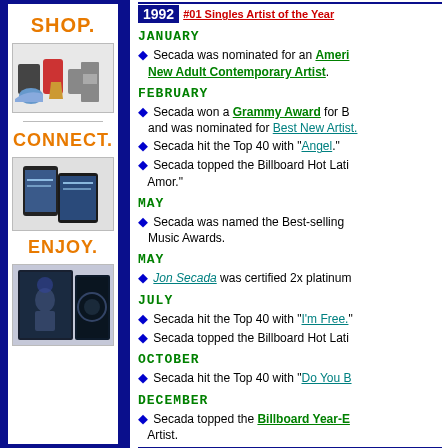[Figure (illustration): Left sidebar with dark blue background containing shopping/electronics images with SHOP., CONNECT., ENJOY. labels in orange]
JANUARY
Secada was nominated for an American Music Award as Favorite New Adult Contemporary Artist.
FEBRUARY
Secada won a Grammy Award for Best New Latin Artist and was nominated for Best New Artist.
Secada hit the Top 40 with "Angel."
Secada topped the Billboard Hot Latin Tracks with "Un Amor."
MAY
Secada was named the Best-selling New Artist at the World Music Awards.
MAY
Jon Secada was certified 2x platinum.
JULY
Secada hit the Top 40 with "I'm Free."
Secada topped the Billboard Hot Latin Tracks.
OCTOBER
Secada hit the Top 40 with "Do You Believe In Us."
DECEMBER
Secada topped the Billboard Year-End chart as the #1 New Artist.